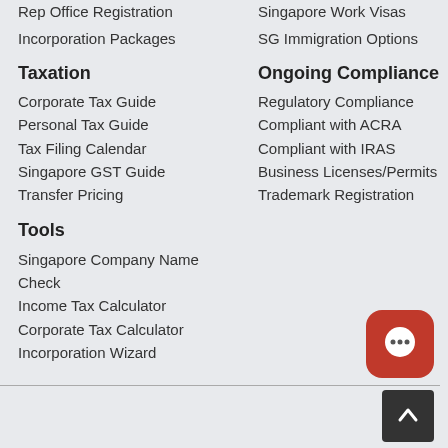Rep Office Registration
Incorporation Packages
Taxation
Corporate Tax Guide
Personal Tax Guide
Tax Filing Calendar
Singapore GST Guide
Transfer Pricing
Tools
Singapore Company Name Check
Income Tax Calculator
Corporate Tax Calculator
Incorporation Wizard
Singapore Work Visas
SG Immigration Options
Ongoing Compliance
Regulatory Compliance
Compliant with ACRA
Compliant with IRAS
Business Licenses/Permits
Trademark Registration